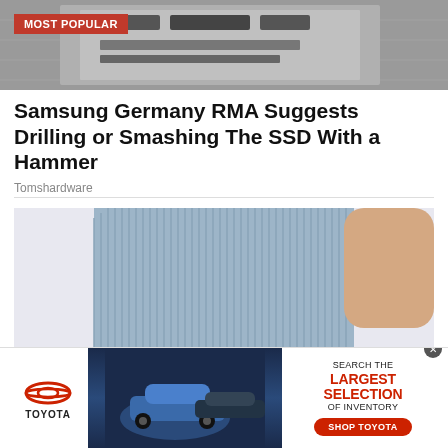[Figure (photo): Top banner image showing computer hardware/SSD components with 'MOST POPULAR' red badge overlay]
Samsung Germany RMA Suggests Drilling or Smashing The SSD With a Hammer
Tomshardware
[Figure (photo): Woman in blue ribbed top holding hands cupped together]
[Figure (photo): Toyota advertisement banner: SEARCH THE LARGEST SELECTION OF INVENTORY - SHOP TOYOTA]